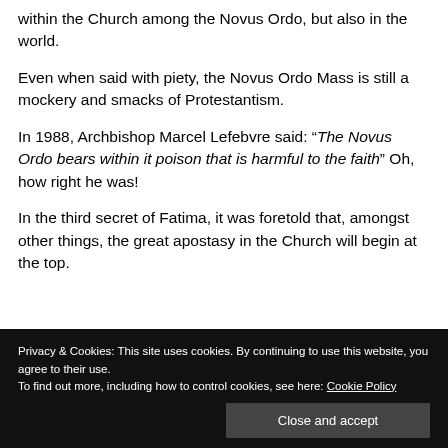within the Church among the Novus Ordo, but also in the world.
Even when said with piety, the Novus Ordo Mass is still a mockery and smacks of Protestantism.
In 1988, Archbishop Marcel Lefebvre said: “The Novus Ordo bears within it poison that is harmful to the faith” Oh, how right he was!
In the third secret of Fatima, it was foretold that, amongst other things, the great apostasy in the Church will begin at the top.
Privacy & Cookies: This site uses cookies. By continuing to use this website, you agree to their use. To find out more, including how to control cookies, see here: Cookie Policy
Close and accept